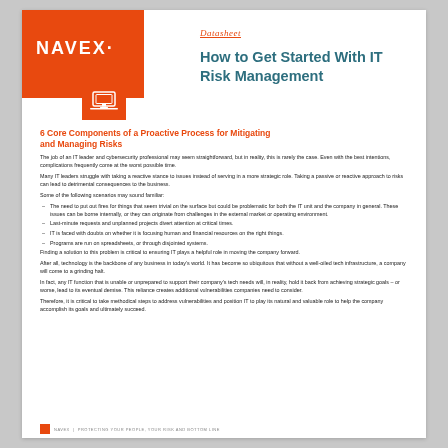NAVEX | Datasheet
How to Get Started With IT Risk Management
6 Core Components of a Proactive Process for Mitigating and Managing Risks
The job of an IT leader and cybersecurity professional may seem straightforward, but in reality, this is rarely the case. Even with the best intentions, complications frequently come at the worst possible time.
Many IT leaders struggle with taking a reactive stance to issues instead of serving in a more strategic role. Taking a passive or reactive approach to risks can lead to detrimental consequences to the business.
Some of the following scenarios may sound familiar:
The need to put out fires for things that seem trivial on the surface but could be problematic for both the IT unit and the company in general. These issues can be borne internally, or they can originate from challenges in the external market or operating environment.
Last-minute requests and unplanned projects divert attention at critical times.
IT is faced with doubts on whether it is focusing human and financial resources on the right things.
Programs are run on spreadsheets, or through disjointed systems.
Finding a solution to this problem is critical to ensuring IT plays a helpful role in moving the company forward.
After all, technology is the backbone of any business in today's world. It has become so ubiquitous that without a well-oiled tech infrastructure, a company will come to a grinding halt.
In fact, any IT function that is unable or unprepared to support their company's tech needs will, in reality, hold it back from achieving strategic goals – or worse, lead to its eventual demise. This reliance creates additional vulnerabilities companies need to consider.
Therefore, it is critical to take methodical steps to address vulnerabilities and position IT to play its natural and valuable role to help the company accomplish its goals and ultimately succeed.
NAVEX | PROTECTING YOUR PEOPLE, YOUR RISK AND BOTTOM LINE